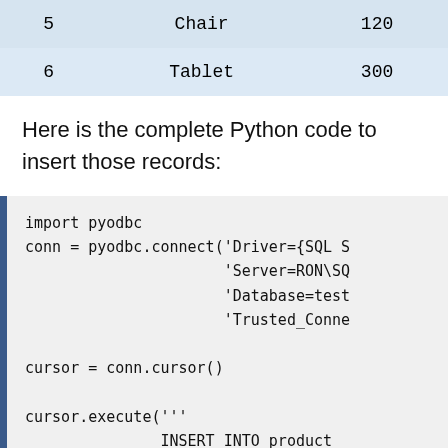| 5 | Chair | 120 |
| 6 | Tablet | 300 |
Here is the complete Python code to insert those records:
import pyodbc
conn = pyodbc.connect('Driver={SQL S
                      'Server=RON\SQ
                      'Database=test
                      'Trusted_Conne

cursor = conn.cursor()

cursor.execute('''
               INSERT INTO product
               VALUES
               (5,'Chair',120),
               (6,'Tablet',300)